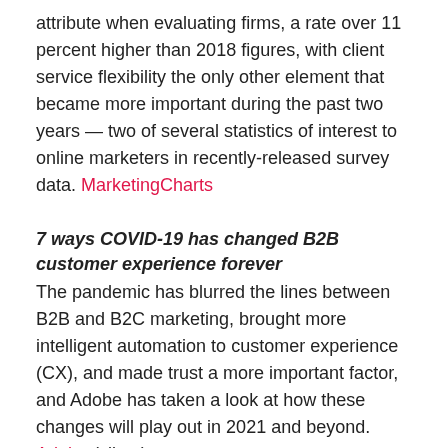attribute when evaluating firms, a rate over 11 percent higher than 2018 figures, with client service flexibility the only other element that became more important during the past two years — two of several statistics of interest to online marketers in recently-released survey data. MarketingCharts
7 ways COVID-19 has changed B2B customer experience forever
The pandemic has blurred the lines between B2B and B2C marketing, brought more intelligent automation to customer experience (CX), and made trust a more important factor, and Adobe has taken a look at how these changes will play out in 2021 and beyond. Adobe (client)
Linked Rolls Out Company Engagement Report
LinkedIn (client) has launched a Company Engagement Report offering new insights for B2B marketers, especially those using account based marketing (ABM), featuring a variety of organic and ad engagement metrics, the Microsoft-owned professional social platform recently announced. Adweek